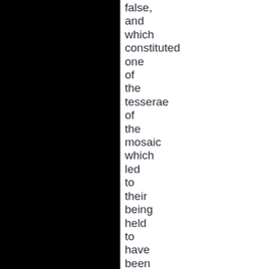false, and which constituted one of the tesserae of the mosaic which led to their being held to have been present at the scene of